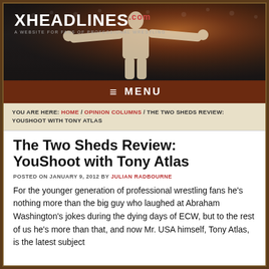[Figure (photo): XHeadlines.com website banner with logo and a wrestler (CM Punk) posing with arms outstretched in front of a crowd]
≡ MENU
YOU ARE HERE: HOME / OPINION COLUMNS / THE TWO SHEDS REVIEW: YOUSHOOT WITH TONY ATLAS
The Two Sheds Review: YouShoot with Tony Atlas
POSTED ON JANUARY 9, 2012 BY JULIAN RADBOURNE
For the younger generation of professional wrestling fans he's nothing more than the big guy who laughed at Abraham Washington's jokes during the dying days of ECW, but to the rest of us he's more than that, and now Mr. USA himself, Tony Atlas, is the latest subject of YouShoot.com to get a YouShoot interview.